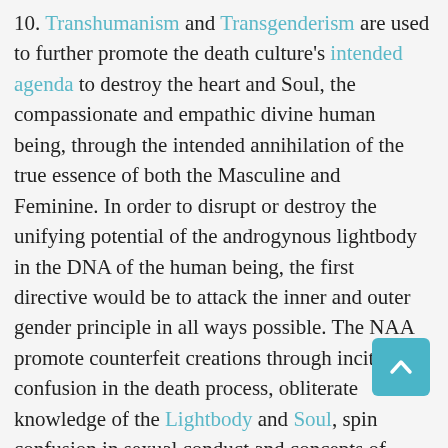10. Transhumanism and Transgenderism are used to further promote the death culture's intended agenda to destroy the heart and Soul, the compassionate and empathic divine human being, through the intended annihilation of the true essence of both the Masculine and Feminine. In order to disrupt or destroy the unifying potential of the androgynous lightbody in the DNA of the human being, the first directive would be to attack the inner and outer gender principle in all ways possible. The NAA promote counterfeit creations through inciting confusion in the death process, obliterate knowledge of the Lightbody and Soul, spin confusion in sexual conduct and concepts of